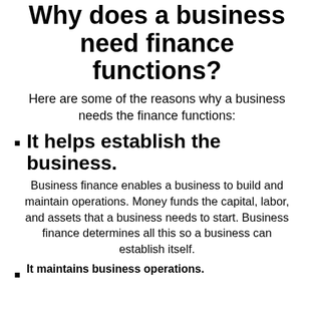Why does a business need finance functions?
Here are some of the reasons why a business needs the finance functions:
It helps establish the business.
Business finance enables a business to build and maintain operations. Money funds the capital, labor, and assets that a business needs to start. Business finance determines all this so a business can establish itself.
It maintains business operations.